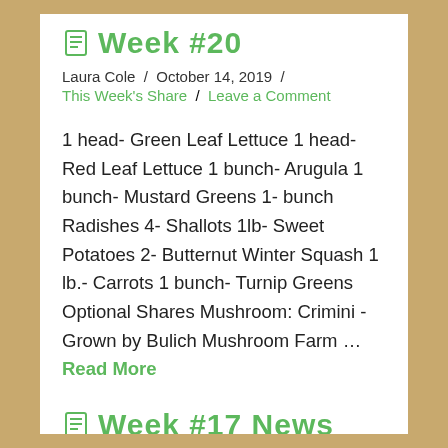Week #20
Laura Cole / October 14, 2019 /
This Week's Share / Leave a Comment
1 head- Green Leaf Lettuce 1 head- Red Leaf Lettuce 1 bunch- Arugula 1 bunch- Mustard Greens 1- bunch Radishes 4- Shallots 1lb- Sweet Potatoes 2- Butternut Winter Squash 1 lb.- Carrots 1 bunch- Turnip Greens Optional Shares Mushroom: Crimini -Grown by Bulich Mushroom Farm … Read More
Week #17 News